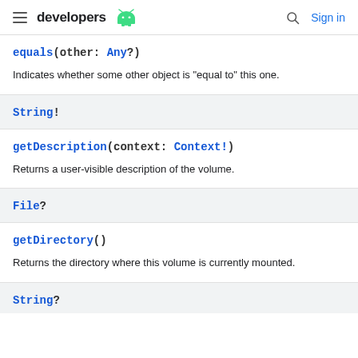developers [android logo] | [search] Sign in
equals(other: Any?)
Indicates whether some other object is "equal to" this one.
String!
getDescription(context: Context!)
Returns a user-visible description of the volume.
File?
getDirectory()
Returns the directory where this volume is currently mounted.
String?